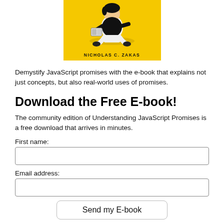[Figure (illustration): Book cover with yellow background showing a cartoon person sitting cross-legged reading a book/tablet. Text at bottom reads 'NICHOLAS C. ZAKAS']
Demystify JavaScript promises with the e-book that explains not just concepts, but also real-world uses of promises.
Download the Free E-book!
The community edition of Understanding JavaScript Promises is a free download that arrives in minutes.
First name:
Email address:
Send my E-book